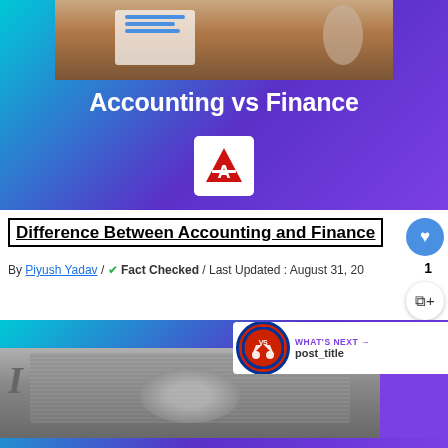[Figure (illustration): Hero banner with gradient background (teal to purple) showing a photo of a desk with notebook and charts at the top, the text 'Accounting vs Finance' in white bold, and a white logo box with a red 'A' letter logo]
Difference Between Accounting and Finance
By Piyush Yadav / ✔ Fact Checked / Last Updated : August 31, 20
[Figure (photo): Second article banner with teal-to-purple gradient background, showing a close-up of a US dollar bill in grayscale, with a 'WHAT'S NEXT →' badge overlay on the right showing a VS circle icon and 'post_title' text]